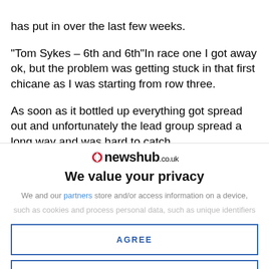has put in over the last few weeks. "Tom Sykes – 6th and 6th"In race one I got away ok, but the problem was getting stuck in that first chicane as I was starting from row three. As soon as it bottled up everything got spread out and unfortunately the lead group spread a long way and was hard to catch. I got past a couple of people and to be honest I thought I
[Figure (logo): Newshub.co.uk logo with red circular icon]
We value your privacy
We and our partners store and/or access information on a device,
such as cookies and process personal data, such as unique identifiers
AGREE
MORE OPTIONS